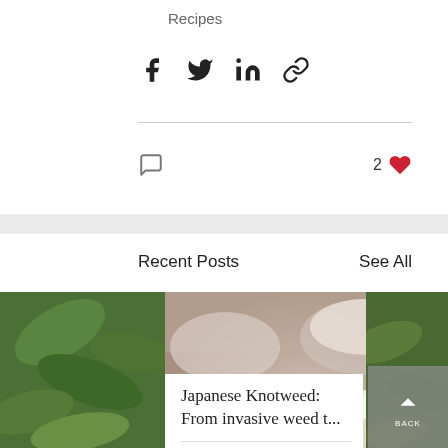Recipes
[Figure (infographic): Social sharing icons: Facebook, Twitter, LinkedIn, and link/chain icon]
[Figure (infographic): Comment bubble icon on the left and '2 heart' like indicator on the right]
Recent Posts
See All
[Figure (photo): Photo of glass bowls filled with a creamy dessert or dish, placed on decorative plates, with green leafy background on both sides]
Japanese Knotweed: From invasive weed t...